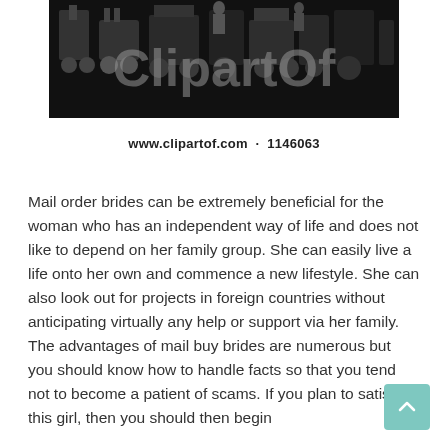[Figure (illustration): Black background clipart image showing vintage industrial or farming machinery silhouettes with 'ClipartOf' watermark text overlaid in gray]
www.clipartof.com · 1146063
Mail order brides can be extremely beneficial for the woman who has an independent way of life and does not like to depend on her family group. She can easily live a life onto her own and commence a new lifestyle. She can also look out for projects in foreign countries without anticipating virtually any help or support via her family. The advantages of mail buy brides are numerous but you should know how to handle facts so that you tend not to become a patient of scams. If you plan to satisfy this girl, then you should then begin